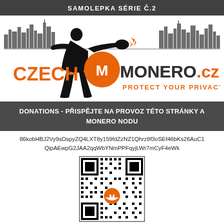SAMOLEPKA SÉRIE Č.2
[Figure (logo): CzechMonero.cz logo with boxer silhouette, city skyline background, orange Monero M coin, text CZECH MONERO.cz and PROTECT YOUR PRIVACY]
DONATIONS - PŘISPĚJTE NA PROVOZ TÉTO STRÁNKY A MONERO NODU
86kobHBJ2Vy9sDspyZQ4LXT8y159fdZzNZ1Qhrz8f3oSEf46bKs26AuC1QipAEwpG2JAA2qqWbYNmPPFqyjLWr7mCyF4eWk
[Figure (other): QR code for Monero donation address with Monero orange logo in the center]